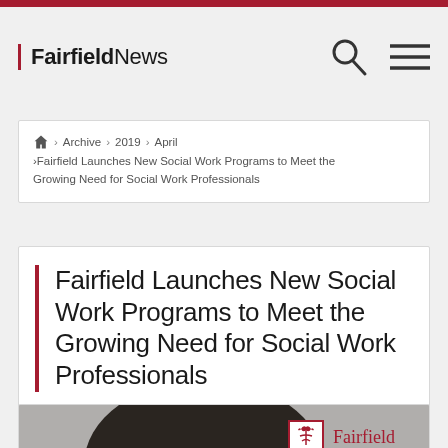FairfieldNews
Home > Archive > 2019 > April > Fairfield Launches New Social Work Programs to Meet the Growing Need for Social Work Professionals
Fairfield Launches New Social Work Programs to Meet the Growing Need for Social Work Professionals
[Figure (photo): Black and white photo of a woman, with Fairfield University logo in top-right corner]